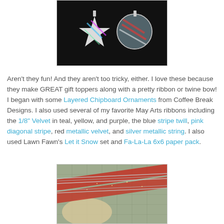[Figure (photo): Photo of layered chipboard ornaments on black background — a star shape and a circular ornament with colorful ribbons]
Aren't they fun!  And they aren't too tricky, either.  I love these because they make GREAT gift toppers along with a pretty ribbon or twine bow!  I began with some Layered Chipboard Ornaments from Coffee Break Designs.  I also used several of my favorite May Arts ribbons including the 1/8" Velvet in teal, yellow, and purple, the blue stripe twill, pink diagonal stripe, red metallic velvet, and silver metallic string.  I also used Lawn Fawn's Let it Snow set and Fa-La-La 6x6 paper pack.
[Figure (photo): Photo of red glittery ribbon and silver metallic string on a cutting mat next to a chipboard ornament]